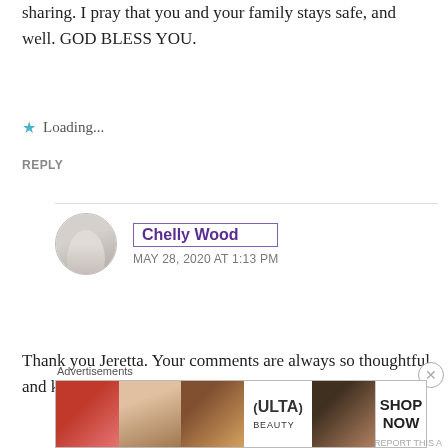sharing. I pray that you and your family stays safe, and well. GOD BLESS YOU.
Loading...
REPLY
Chelly Wood
MAY 28, 2020 AT 1:13 PM
Thank you Jeretta. Your comments are always so thoughtful and kind!
[Figure (screenshot): Advertisement banner for ULTA beauty with makeup images and SHOP NOW text]